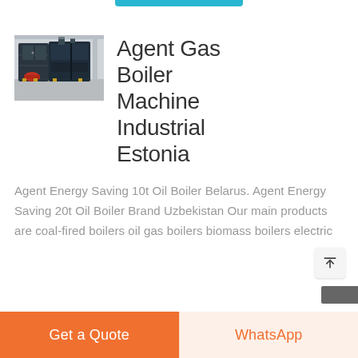[Figure (photo): Industrial gas boiler machine in a warehouse/factory setting, dark blue/grey unit with red components]
Agent Gas Boiler Machine Industrial Estonia
Agent Energy Saving 10t Oil Boiler Belarus. Agent Energy Saving 20t Oil Boiler Brand Uzbekistan Our main products are coal-fired boilers oil gas boilers biomass boilers electric
Get a Quote
WhatsApp